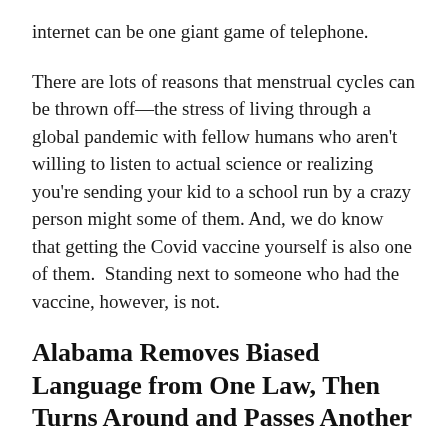internet can be one giant game of telephone.
There are lots of reasons that menstrual cycles can be thrown off—the stress of living through a global pandemic with fellow humans who aren't willing to listen to actual science or realizing you're sending your kid to a school run by a crazy person might some of them. And, we do know that getting the Covid vaccine yourself is also one of them.  Standing next to someone who had the vaccine, however, is not.
Alabama Removes Biased Language from One Law, Then Turns Around and Passes Another
Republican Governor Kay Ivey of Alabama signed a law last week removing decades-old language from the